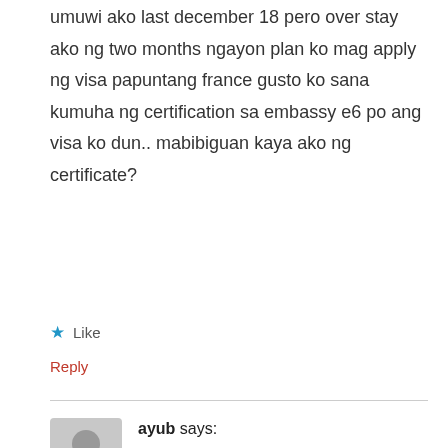umuwi ako last december 18 pero over stay ako ng two months ngayon plan ko mag apply ng visa papuntang france gusto ko sana kumuha ng certification sa embassy e6 po ang visa ko dun.. mabibiguan kaya ako ng certificate?
★ Like
Reply
ayub says: June 3, 2017 at 8:49 am
hello i have stamp on my passport 46-1 but the korean imigration told me i have ban just for one year can u told